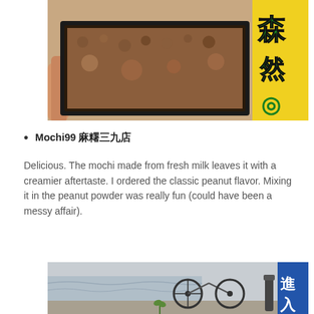[Figure (photo): A hand holding a black container filled with mochi covered in brown peanut powder, with a yellow and green decorated sign in the background.]
Mochi99 麻素三九店
Delicious. The mochi made from fresh milk leaves it with a creamier aftertaste. I ordered the classic peanut flavor. Mixing it in the peanut powder was really fun (could have been a messy affair).
[Figure (photo): A street scene with a bicycle, water in the background, and a blue and white sign with Chinese characters reading 進入 (entry).]